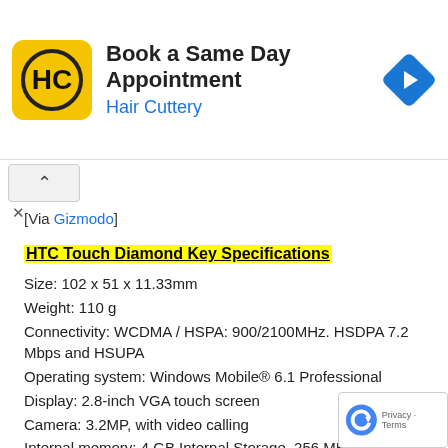[Figure (screenshot): Hair Cuttery advertisement banner with yellow logo showing HC initials, title 'Book a Same Day Appointment', subtitle 'Hair Cuttery', and a blue navigation arrow icon on the right.]
[Via Gizmodo]
HTC Touch Diamond Key Specifications
Size: 102 x 51 x 11.33mm
Weight: 110 g
Connectivity: WCDMA / HSPA: 900/2100MHz. HSDPA 7.2 Mbps and HSUPA
Operating system: Windows Mobile® 6.1 Professional
Display: 2.8-inch VGA touch screen
Camera: 3.2MP, with video calling
Internal memory: 4 GB Internal Storage, 256 MB flash, 192 MB RAM,